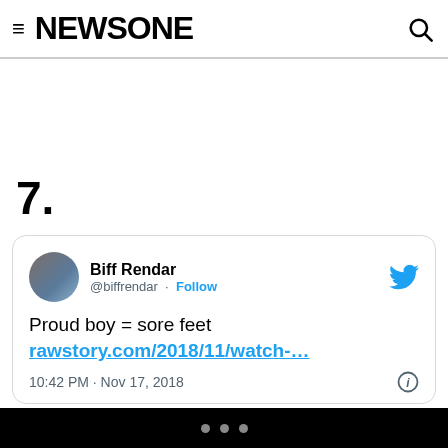NEWSONE
7.
[Figure (screenshot): Embedded tweet from user Biff Rendar (@biffrendar) with tweet text: 'Proud boy = sore feet rawstory.com/2018/11/watch-...' posted at 10:42 PM · Nov 17, 2018]